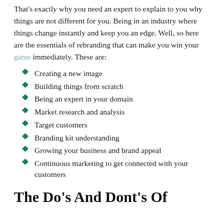That's exactly why you need an expert to explain to you why things are not different for you. Being in an industry where things change instantly and keep you an edge. Well, so here are the essentials of rebranding that can make you win your game immediately. These are:
Creating a new image
Building things from scratch
Being an expert in your domain
Market research and analysis
Target customers
Branding kit understanding
Growing your business and brand appeal
Continuous marketing to get connected with your customers
The Do's And Dont's Of